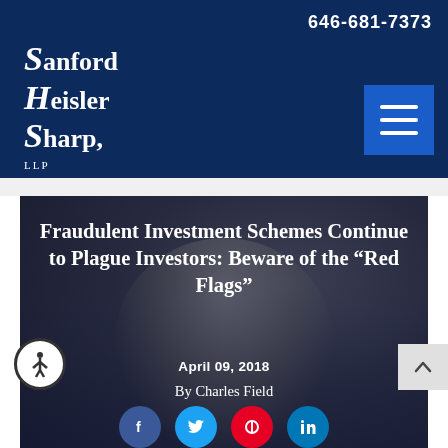646-681-7373
[Figure (logo): Sanford Heisler Sharp, LLP law firm logo in white serif font on dark navy background]
[Figure (other): Hamburger menu button (three horizontal lines) on blue square background]
[Figure (photo): Background photo of a man in a suit holding a fan of money, overlaid with dark semi-transparent layer]
Fraudulent Investment Schemes Continue to Plague Investors: Beware of the “Red Flags”
April 09, 2018
By Charles Field